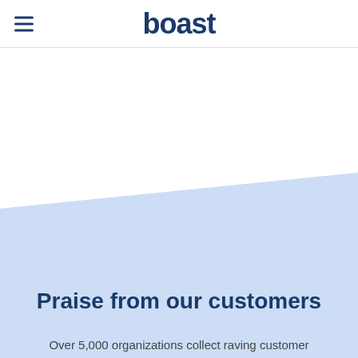boast
[Figure (illustration): Light blue diagonal background section with white area above and light blue area below, forming a diagonal boundary]
Praise from our customers
Over 5,000 organizations collect raving customer